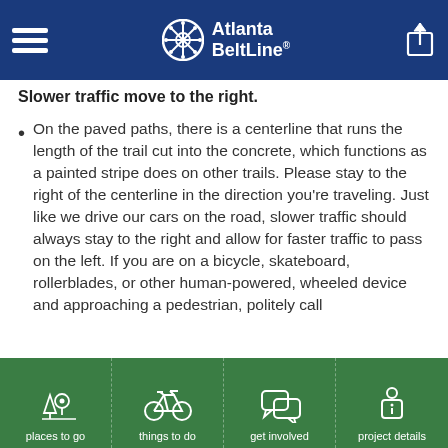Atlanta BeltLine
Slower traffic move to the right.
On the paved paths, there is a centerline that runs the length of the trail cut into the concrete, which functions as a painted stripe does on other trails. Please stay to the right of the centerline in the direction you're traveling. Just like we drive our cars on the road, slower traffic should always stay to the right and allow for faster traffic to pass on the left. If you are on a bicycle, skateboard, rollerblades, or other human-powered, wheeled device and approaching a pedestrian, politely call
places to go | things to do | get involved | project details